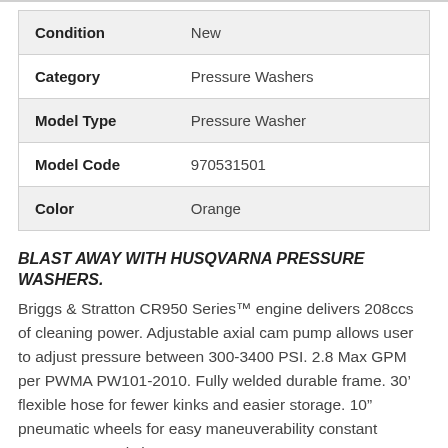| Attribute | Value |
| --- | --- |
| Condition | New |
| Category | Pressure Washers |
| Model Type | Pressure Washer |
| Model Code | 970531501 |
| Color | Orange |
BLAST AWAY WITH HUSQVARNA PRESSURE WASHERS. Briggs & Stratton CR950 Series™ engine delivers 208ccs of cleaning power. Adjustable axial cam pump allows user to adjust pressure between 300-3400 PSI. 2.8 Max GPM per PWMA PW101-2010. Fully welded durable frame. 30' flexible hose for fewer kinks and easier storage. 10" pneumatic wheels for easy maneuverability constant pressure to apply lawn